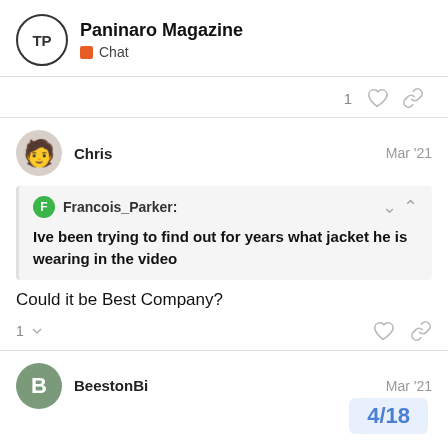Paninaro Magazine — Chat
1 [like] [link]
Chris  Mar '21
Francois_Parker: Ive been trying to find out for years what jacket he is wearing in the video
Could it be Best Company?
1 [like] [link]
BeestonBi  Mar '21
4/18